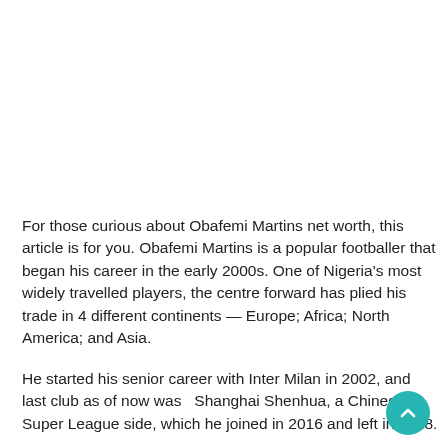For those curious about Obafemi Martins net worth, this article is for you. Obafemi Martins is a popular footballer that began his career in the early 2000s. One of Nigeria's most widely travelled players, the centre forward has plied his trade in 4 different continents — Europe; Africa; North America; and Asia.
He started his senior career with Inter Milan in 2002, and last club as of now was   Shanghai Shenhua, a Chinese Super League side, which he joined in 2016 and left in 2018.